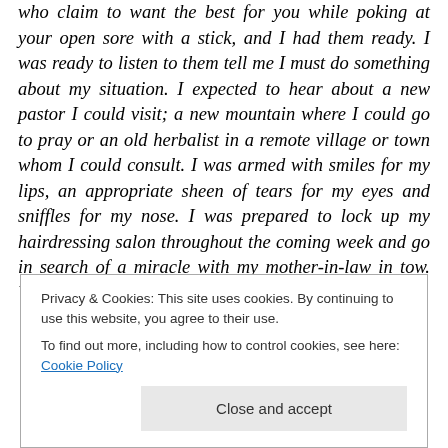who claim to want the best for you while poking at your open sore with a stick, and I had them ready. I was ready to listen to them tell me I must do something about my situation. I expected to hear about a new pastor I could visit; a new mountain where I could go to pray or an old herbalist in a remote village or town whom I could consult. I was armed with smiles for my lips, an appropriate sheen of tears for my eyes and sniffles for my nose. I was prepared to lock up my hairdressing salon throughout the coming week and go in search of a miracle with my mother-in-law in tow. What I was not expecting was
Privacy & Cookies: This site uses cookies. By continuing to use this website, you agree to their use.
To find out more, including how to control cookies, see here: Cookie Policy
Close and accept